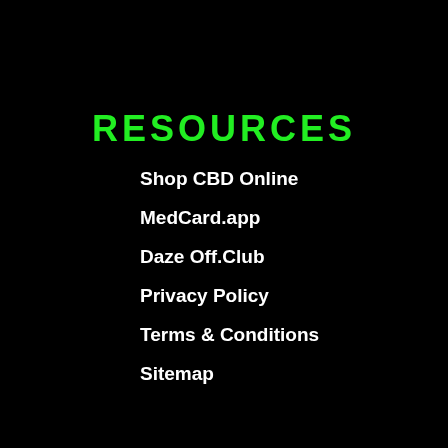RESOURCES
Shop CBD Online
MedCard.app
Daze Off.Club
Privacy Policy
Terms & Conditions
Sitemap
SHARE...
[Figure (infographic): Four social media share buttons: Facebook (blue border, blue icon), Twitter (blue border, blue bird icon), Reddit (orange border, orange alien icon), Pinterest (red border, red P icon)]